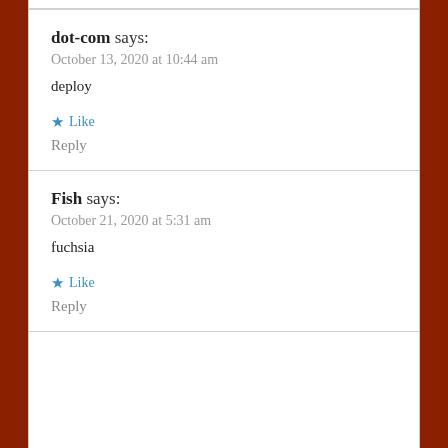dot-com says:
October 13, 2020 at 10:44 am
deploy
Like
Reply
Fish says:
October 21, 2020 at 5:31 am
fuchsia
Like
Reply